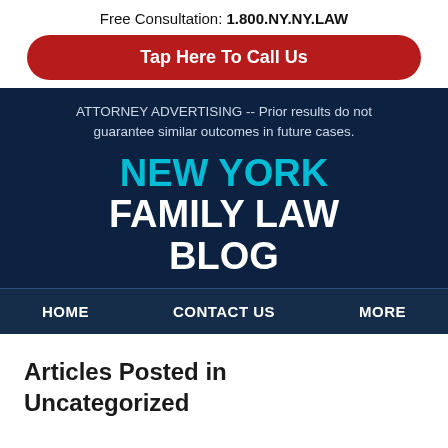Free Consultation: 1.800.NY.NY.LAW
Tap Here To Call Us
ATTORNEY ADVERTISING -- Prior results do not guarantee similar outcomes in future cases.
NEW YORK FAMILY LAW BLOG
HOME   CONTACT US   MORE
Articles Posted in Uncategorized